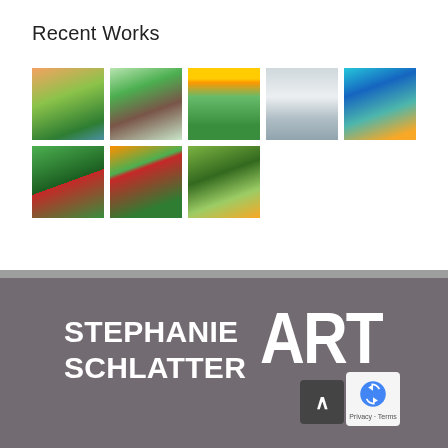Recent Works
[Figure (photo): A gallery grid of 8 landscape oil paintings of vineyards and countryside scenes. Top row: 5 paintings. Bottom row: 3 paintings.]
[Figure (logo): Stephanie Schlatter Art logo in white bold text on dark gray background, with scroll-to-top button and reCAPTCHA widget overlay.]